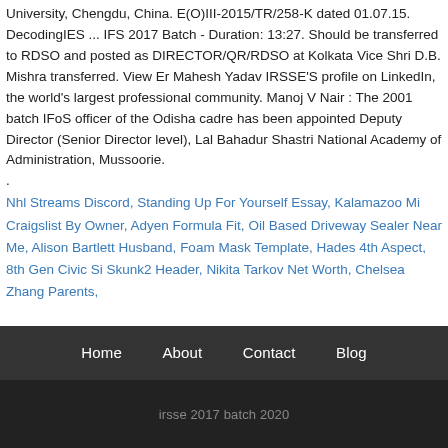University, Chengdu, China. E(O)III-2015/TR/258-K dated 01.07.15. DecodingIES ... IFS 2017 Batch - Duration: 13:27. Should be transferred to RDSO and posted as DIRECTOR/QR/RDSO at Kolkata Vice Shri D.B. Mishra transferred. View Er Mahesh Yadav IRSSE'S profile on LinkedIn, the world's largest professional community. Manoj V Nair : The 2001 batch IFoS officer of the Odisha cadre has been appointed Deputy Director (Senior Director level), Lal Bahadur Shastri National Academy of Administration, Mussoorie. .
Nhl Streams Discord, Standing Up For Yourself Essay, Kalamazoo Mi Craigslist By Owner, Adyen Formula Fit, Oil Based Driveway Sealer Near Me, Alison Bartlett Husband, Foam Mask Template, Hades 4th Aspect, 8th Gen Civic Si Skunk2 Header, Nikita Tarkov Net Worth, Chelsea Zhang Parents,
Home   About   Contact   Blog
irsse 2017 batch 2020